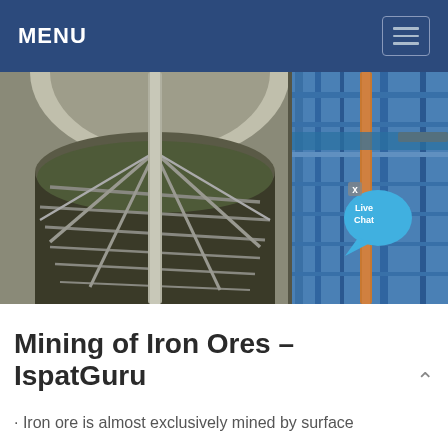MENU
[Figure (photo): Industrial mining facility showing a large circular tank or thickener with metal scaffolding/rake mechanism inside, viewed from above. Right side shows blue-painted industrial structure with pipework and walkways. A 'Live Chat' bubble overlay is visible in the upper right of the photo.]
Mining of Iron Ores – IspatGuru
· Iron ore is almost exclusively mined by surface